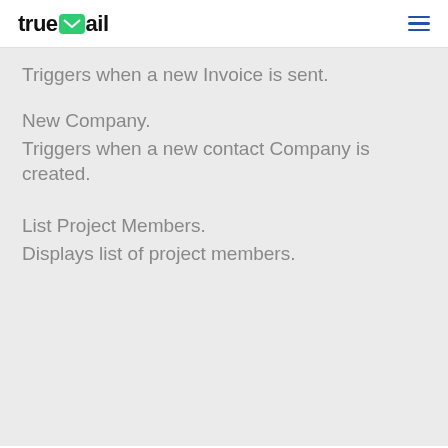trueMail
Triggers when a new Invoice is sent.
New Company.
Triggers when a new contact Company is created.
List Project Members.
Displays list of project members.